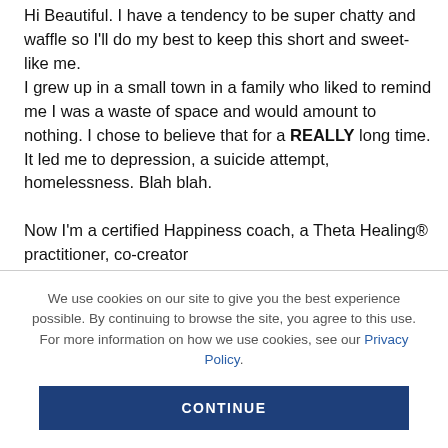Hi Beautiful. I have a tendency to be super chatty and waffle so I'll do my best to keep this short and sweet- like me.
I grew up in a small town in a family who liked to remind me I was a waste of space and would amount to nothing. I chose to believe that for a REALLY long time. It led me to depression, a suicide attempt, homelessness. Blah blah.

Now I'm a certified Happiness coach, a Theta Healing® practitioner, co-creator
We use cookies on our site to give you the best experience possible. By continuing to browse the site, you agree to this use. For more information on how we use cookies, see our Privacy Policy.